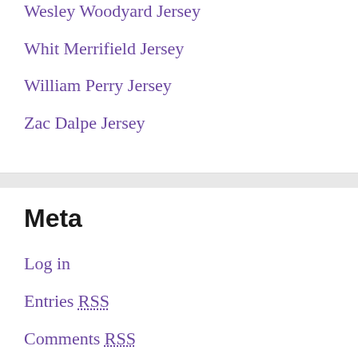Wesley Woodyard Jersey
Whit Merrifield Jersey
William Perry Jersey
Zac Dalpe Jersey
Meta
Log in
Entries RSS
Comments RSS
WordPress.org